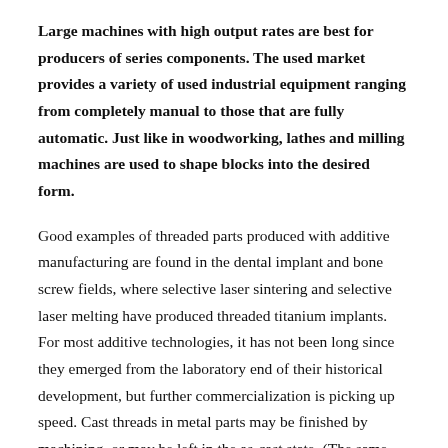Large machines with high output rates are best for producers of series components. The used market provides a variety of used industrial equipment ranging from completely manual to those that are fully automatic. Just like in woodworking, lathes and milling machines are used to shape blocks into the desired form.
Good examples of threaded parts produced with additive manufacturing are found in the dental implant and bone screw fields, where selective laser sintering and selective laser melting have produced threaded titanium implants. For most additive technologies, it has not been long since they emerged from the laboratory end of their historical development, but further commercialization is picking up speed. Cast threads in metal parts may be finished by machining, or may be left in the as-cast state. (The same can be said of cast gear teeth.) Whether or not to bother with the additional expense of a machining operation depends on the application. For parts where the extra precision and surface